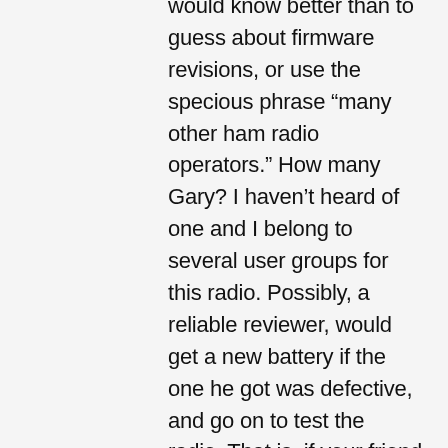would know better than to guess about firmware revisions, or use the specious phrase “many other ham radio operators.” How many Gary? I haven’t heard of one and I belong to several user groups for this radio. Possibly, a reliable reviewer, would get a new battery if the one he got was defective, and go on to test the radio. That is, if your friend with 30 years of ham radio experience just didn’t read the part of the manual that says not to transmit with